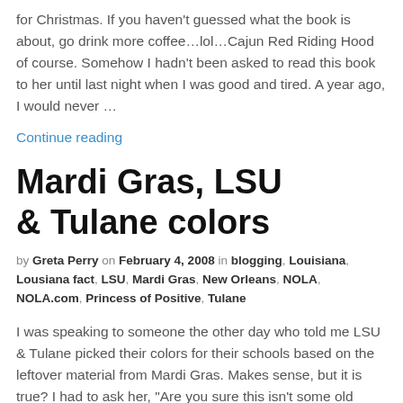for Christmas. If you haven't guessed what the book is about, go drink more coffee…lol…Cajun Red Riding Hood of course. Somehow I hadn't been asked to read this book to her until last night when I was good and tired. A year ago, I would never …
Continue reading
Mardi Gras, LSU & Tulane colors
by Greta Perry on February 4, 2008 in blogging, Louisiana, Lousiana fact, LSU, Mardi Gras, New Orleans, NOLA, NOLA.com, Princess of Positive, Tulane
I was speaking to someone the other day who told me LSU & Tulane picked their colors for their schools based on the leftover material from Mardi Gras. Makes sense, but it is true? I had to ask her, "Are you sure this isn't some old wive's tale?" She was convinced it wasn't and so …